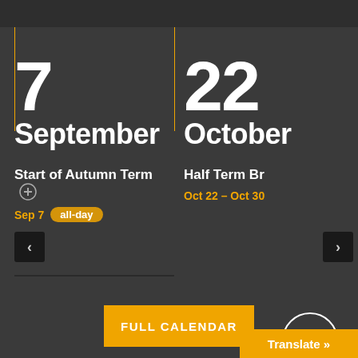7
September
Start of Autumn Term
Sep 7  all-day
22
October
Half Term Br
Oct 22 – Oct 30
FULL CALENDAR
Translate »